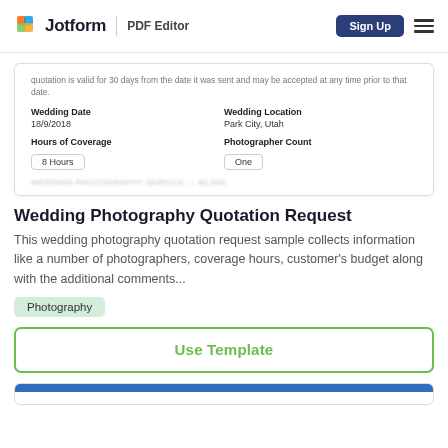Jotform | PDF Editor  Sign Up
[Figure (screenshot): Partial preview of a Wedding Photography Quotation Request PDF showing Wedding Date 18/9/2018, Wedding Location Park City Utah, Hours of Coverage 8 Hours, Photographer Count One]
Wedding Photography Quotation Request
This wedding photography quotation request sample collects information like a number of photographers, coverage hours, customer's budget along with the additional comments...
Photography
Use Template
[Figure (screenshot): Bottom cropped preview of another form card with a blue header bar]